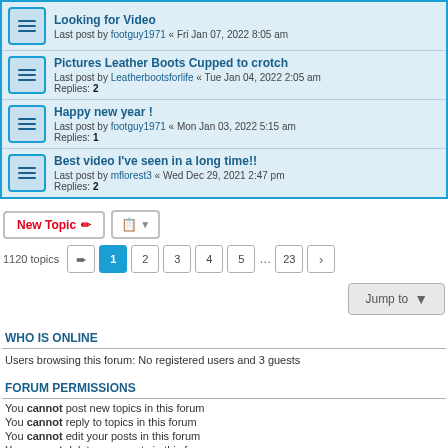Looking for Video — Last post by footguy1971 « Fri Jan 07, 2022 8:05 am
Pictures Leather Boots Cupped to crotch — Last post by Leatherbootsforlife « Tue Jan 04, 2022 2:05 am — Replies: 2
Happy new year ! — Last post by footguy1971 « Mon Jan 03, 2022 5:15 am — Replies: 1
Best video I've seen in a long time!! — Last post by mflorest3 « Wed Dec 29, 2021 2:47 pm — Replies: 2
New Topic | Sort | 1120 topics | 1 2 3 4 5 ... 23 | Jump to
WHO IS ONLINE
Users browsing this forum: No registered users and 3 guests
FORUM PERMISSIONS
You cannot post new topics in this forum
You cannot reply to topics in this forum
You cannot edit your posts in this forum
You cannot delete your posts in this forum
You cannot post attachments in this forum